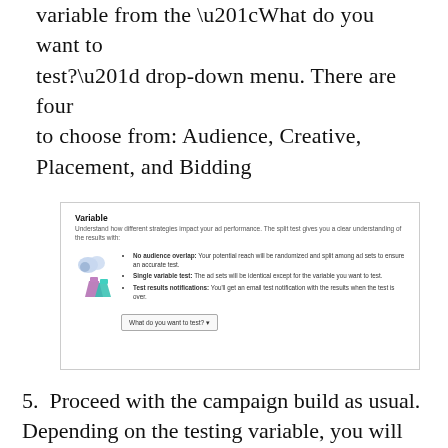variable from the “What do you want to test?” drop-down menu. There are four to choose from: Audience, Creative, Placement, and Bidding
[Figure (screenshot): Screenshot of a Facebook Ads interface showing the Variable section. Includes title 'Variable', a subtitle explaining the split test, icons, bullet points about No audience overlap, Single variable test, Test results notifications, and a 'What do you want to test?' dropdown button.]
5. Proceed with the campaign build as usual. Depending on the testing variable, you will be presented with a number of input fields to define a variation of the tested variable. For example: if you are testing the